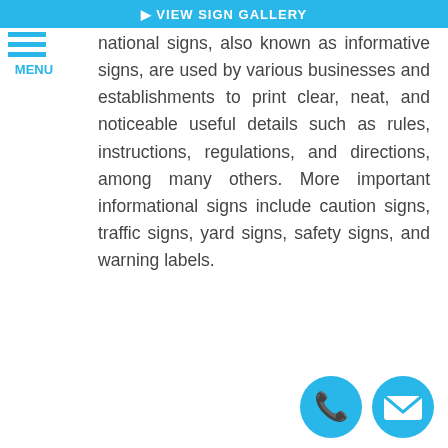VIEW SIGN GALLERY
[Figure (other): Hamburger menu icon with three blue horizontal lines and MENU label in blue]
national signs, also known as informative signs, are used by various businesses and establishments to print clear, neat, and noticeable useful details such as rules, instructions, regulations, and directions, among many others. More important informational signs include caution signs, traffic signs, yard signs, safety signs, and warning labels.
[Figure (other): Two circular blue buttons: a phone/call icon and an envelope/email icon]